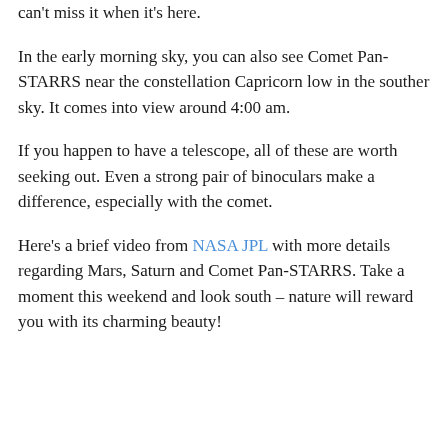can't miss it when it's here.
In the early morning sky, you can also see Comet Pan-STARRS near the constellation Capricorn low in the souther sky. It comes into view around 4:00 am.
If you happen to have a telescope, all of these are worth seeking out. Even a strong pair of binoculars make a difference, especially with the comet.
Here’s a brief video from NASA JPL with more details regarding Mars, Saturn and Comet Pan-STARRS. Take a moment this weekend and look south – nature will reward you with its charming beauty!